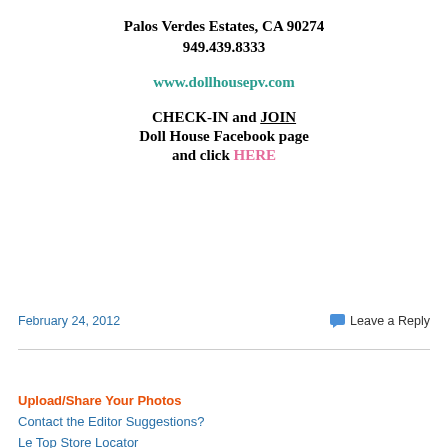Palos Verdes Estates, CA 90274
949.439.8333
www.dollhousepv.com
CHECK-IN and JOIN Doll House Facebook page and click HERE
February 24, 2012
Leave a Reply
Upload/Share Your Photos
Contact the Editor Suggestions?
Le Top Store Locator